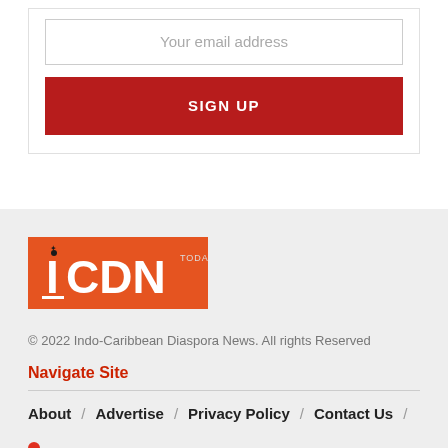Your email address
SIGN UP
[Figure (logo): ICDN Today logo — orange rectangle with white letters ICDN and a maple leaf symbol]
© 2022 Indo-Caribbean Diaspora News. All rights Reserved
Navigate Site
About / Advertise / Privacy Policy / Contact Us /